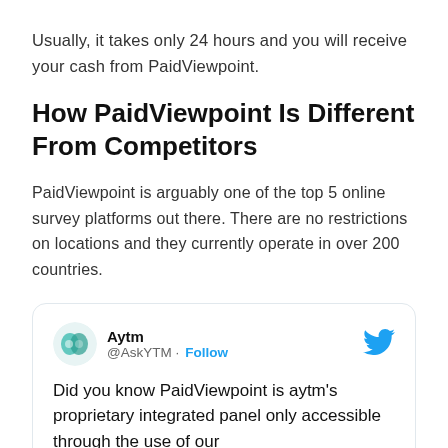Usually, it takes only 24 hours and you will receive your cash from PaidViewpoint.
How PaidViewpoint Is Different From Competitors
PaidViewpoint is arguably one of the top 5 online survey platforms out there. There are no restrictions on locations and they currently operate in over 200 countries.
[Figure (screenshot): Tweet card from @AskYTM (Aytm) with a Follow button and Twitter bird icon. Tweet text: 'Did you know PaidViewpoint is aytm's proprietary integrated panel only accessible through the use of our']